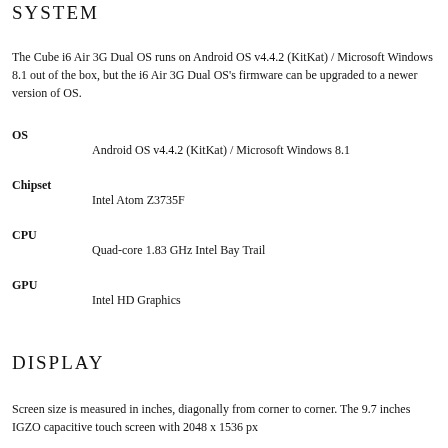SYSTEM
The Cube i6 Air 3G Dual OS runs on Android OS v4.4.2 (KitKat) / Microsoft Windows 8.1 out of the box, but the i6 Air 3G Dual OS's firmware can be upgraded to a newer version of OS.
OS
    Android OS v4.4.2 (KitKat) / Microsoft Windows 8.1
Chipset
    Intel Atom Z3735F
CPU
    Quad-core 1.83 GHz Intel Bay Trail
GPU
    Intel HD Graphics
DISPLAY
Screen size is measured in inches, diagonally from corner to corner. The 9.7 inches IGZO capacitive touch screen with 2048 x 1536 px